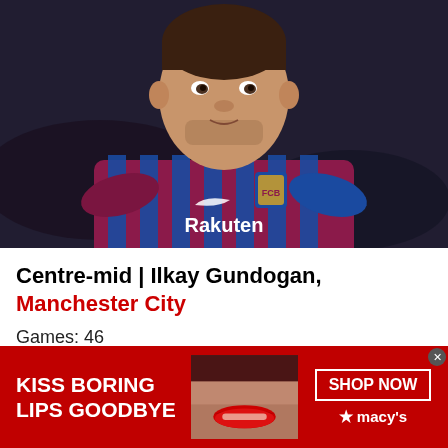[Figure (photo): Football player wearing FC Barcelona Rakuten jersey (maroon and blue stripes), looking to the right, photographed during a match in a dark stadium]
Centre-mid | Ilkay Gundogan, Manchester City
Games: 46
Goals: 15
[Figure (photo): Advertisement banner: KISS BORING LIPS GOODBYE - model with red lips - SHOP NOW - macy's]